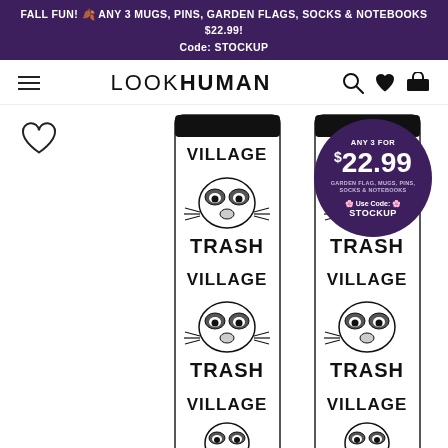FALL FUN! 🍂 ANY 3 MUGS, PINS, GARDEN FLAGS, SOCKS & NOTEBOOKS $22.99! Code: STOCKUP
LOOK HUMAN (navigation bar with hamburger menu, logo, search, heart, cart icons)
[Figure (screenshot): Product page screenshot showing 'Village Trash' socks with raccoon design from LookHuman. Two white socks displayed side by side with repeating pattern of 'VILLAGE' and 'TRASH' text alternating with raccoon illustrations. A purple circular promotional badge reads 'ANY 3 FOR $22.99 GARDEN FLAG, MUGS, PINS, SOCKS & NOTEBOOKS Use Code: STOCKUP'. A heart/wishlist icon appears in top left of product area.]